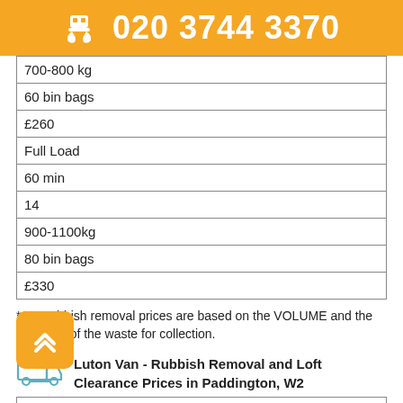020 3744 3370
| 700-800 kg |
| 60 bin bags |
| £260 |
| Full Load |
| 60 min |
| 14 |
| 900-1100kg |
| 80 bin bags |
| £330 |
*Our rubbish removal prices are based on the VOLUME and the WEIGHT of the waste for collection.
Luton Van - Rubbish Removal and Loft Clearance Prices in Paddington, W2
| in the van |
| Loading Time |